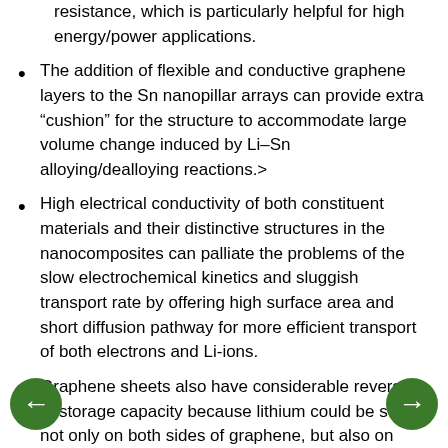resistance, which is particularly helpful for high energy/power applications.
The addition of flexible and conductive graphene layers to the Sn nanopillar arrays can provide extra “cushion” for the structure to accommodate large volume change induced by Li–Sn alloying/dealloying reactions.>
High electrical conductivity of both constituent materials and their distinctive structures in the nanocomposites can palliate the problems of the slow electrochemical kinetics and sluggish transport rate by offering high surface area and short diffusion pathway for more efficient transport of both electrons and Li-ions.
Graphene sheets also have considerable reversible Li-storage capacity because lithium could be stored not only on both sides of graphene, but also on their significant disorder, edges, vacancies, and covalent sites.